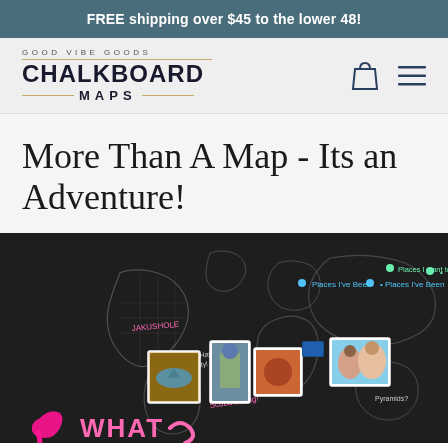FREE shipping over $45 to the lower 48!
[Figure (logo): Good Vibe Goods Chalkboard Maps logo with decorative gold dividers]
More Than A Map - Its an Adventure!
[Figure (photo): Chalkboard world map with chalk drawings, photos pinned, colored markers, annotations including 'Places I've Been', 'Places I want to go!', and various travel photos pinned across the map. Pink marker visible at bottom left with pink 'WHAT' text.]